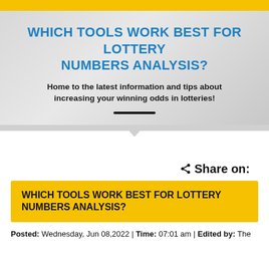WHICH TOOLS WORK BEST FOR LOTTERY NUMBERS ANALYSIS?
Home to the latest information and tips about increasing your winning odds in lotteries!
Share on:
WHICH TOOLS WORK BEST FOR LOTTERY NUMBERS ANALYSIS?
Posted: Wednesday, Jun 08,2022 | Time: 07:01 am | Edited by: The